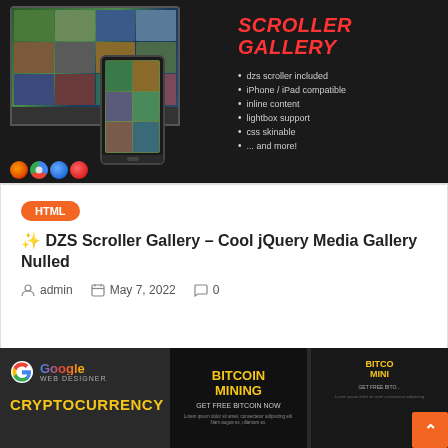[Figure (screenshot): Dark-themed banner for DZS Scroller Gallery plugin showing laptop and phone devices with a gallery interface, browser compatibility icons at bottom left, and red italic text 'SCROLLER GALLERY' with bullet-point feature list on the right]
HTML
✨ DZS Scroller Gallery – Cool jQuery Media Gallery Nulled
admin  May 7, 2022  0
[Figure (screenshot): Dark banner showing Google Web Designer logo, CRYPTOCURRENCY heading in yellow, and Bitcoin Mining banner cards]